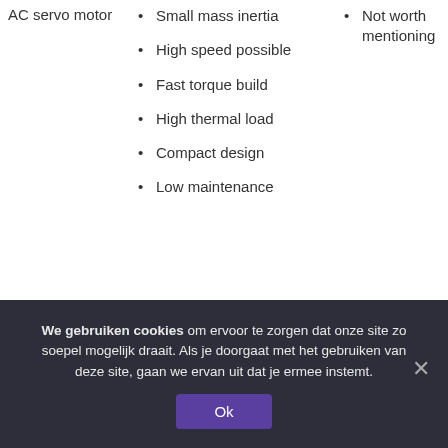Small mass inertia
High speed possible
Fast torque build
High thermal load
Compact design
Low maintenance
Not worth mentioning
We gebruiken cookies om ervoor te zorgen dat onze site zo soepel mogelijk draait. Als je doorgaat met het gebruiken van deze site, gaan we ervan uit dat je ermee instemt.